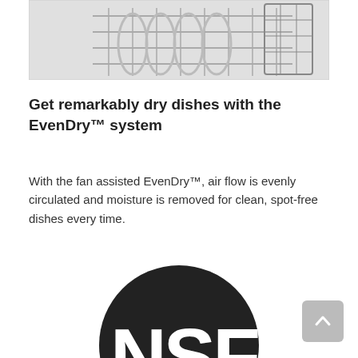[Figure (photo): Partial view of a dishwasher rack with dishes/utensils, black and white photo cropped at top]
Get remarkably dry dishes with the EvenDry™ system
With the fan assisted EvenDry™, air flow is evenly circulated and moisture is removed for clean, spot-free dishes every time.
[Figure (logo): NSF certification logo — large black circle with white letters 'NSF' prominently displayed, partially cropped at bottom of page]